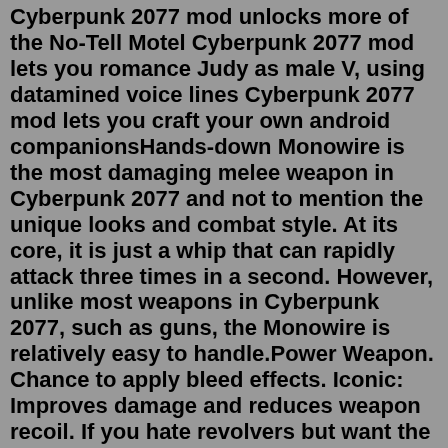Cyberpunk 2077 mod unlocks more of the No-Tell Motel Cyberpunk 2077 mod lets you romance Judy as male V, using datamined voice lines Cyberpunk 2077 mod lets you craft your own android companionsHands-down Monowire is the most damaging melee weapon in Cyberpunk 2077 and not to mention the unique looks and combat style. At its core, it is just a whip that can rapidly attack three times in a second. However, unlike most weapons in Cyberpunk 2077, such as guns, the Monowire is relatively easy to handle.Power Weapon. Chance to apply bleed effects. Iconic: Improves damage and reduces weapon recoil. If you hate revolvers but want the benefit damage and flexibility of a revolver, look no further. There's nothing too fancy about the Amnesty, but it makes the gun usable for those who find them unruly. RELATED: Cyberpunk 2077: The Face Tattoos, RankedTake the stairs to the ship, take a left and go to the back of the ship. You will see a door here. This will be the entrance to Adam Smasher's secret hideout. Use the buttons on the left